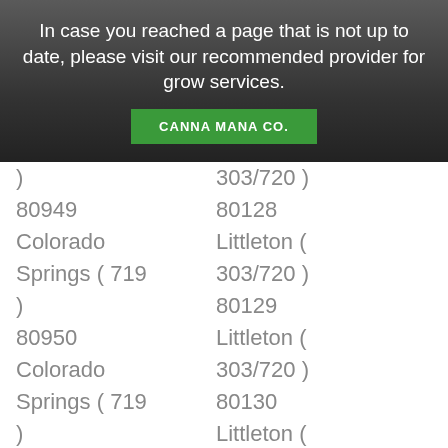In case you reached a page that is not up to date, please visit our recommended provider for grow services.
CANNA MANA CO.
| Col1 | Col2 |
| --- | --- |
| ) | 303/720 ) |
| 80949 | 80128 |
| Colorado | Littleton ( |
| Springs ( 719 | 303/720 ) |
| ) | 80129 |
| 80950 | Littleton ( |
| Colorado | 303/720 ) |
| Springs ( 719 | 80130 |
| ) | Littleton ( |
|  | 303/720 ) |
| Colorado | 80160 |
| Springs ( 719 | Littleton ( |